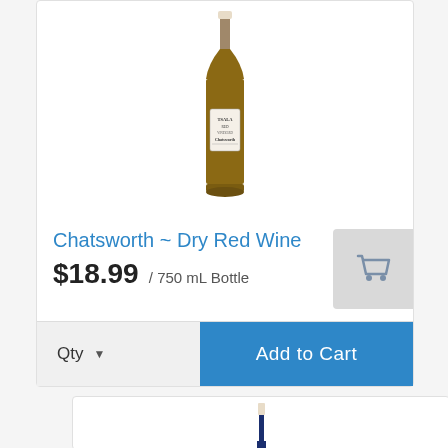[Figure (photo): Brown wine bottle with white label reading TSALI Chatsworth on a white background]
Chatsworth ~ Dry Red Wine
$18.99 / 750 mL Bottle
[Figure (illustration): Shopping cart icon in gray on a light gray square background]
Qty  Add to Cart
[Figure (photo): Dark blue wine bottle neck visible at bottom of page, partially cropped]